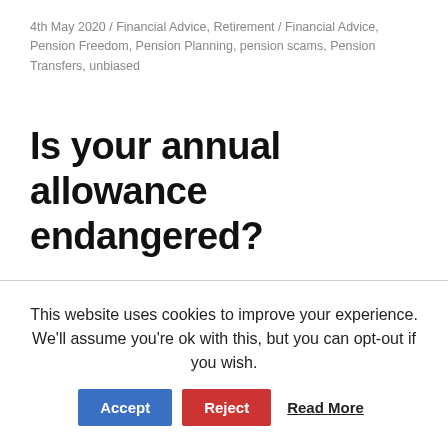4th May 2020 / Financial Advice, Retirement / Financial Advice, Pension Freedom, Pension Planning, pension scams, Pension Transfers, unbiased
Is your annual allowance endangered?
This website uses cookies to improve your experience. We'll assume you're ok with this, but you can opt-out if you wish. Accept Reject Read More